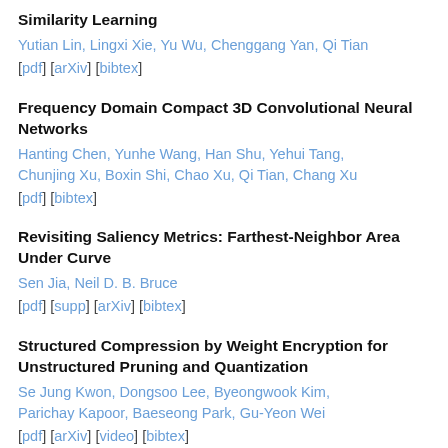Similarity Learning
Yutian Lin, Lingxi Xie, Yu Wu, Chenggang Yan, Qi Tian
[pdf] [arXiv] [bibtex]
Frequency Domain Compact 3D Convolutional Neural Networks
Hanting Chen, Yunhe Wang, Han Shu, Yehui Tang, Chunjing Xu, Boxin Shi, Chao Xu, Qi Tian, Chang Xu
[pdf] [bibtex]
Revisiting Saliency Metrics: Farthest-Neighbor Area Under Curve
Sen Jia, Neil D. B. Bruce
[pdf] [supp] [arXiv] [bibtex]
Structured Compression by Weight Encryption for Unstructured Pruning and Quantization
Se Jung Kwon, Dongsoo Lee, Byeongwook Kim, Parichay Kapoor, Baeseong Park, Gu-Yeon Wei
[pdf] [arXiv] [video] [bibtex]